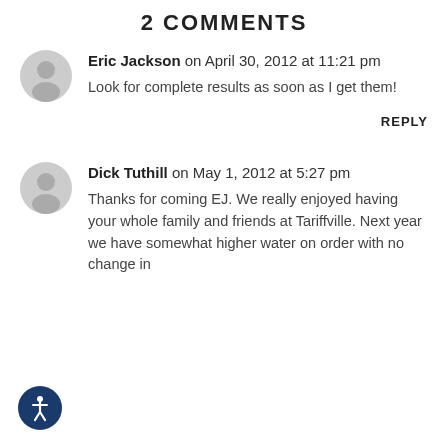2 COMMENTS
Eric Jackson on April 30, 2012 at 11:21 pm

Look for complete results as soon as I get them!
REPLY
Dick Tuthill on May 1, 2012 at 5:27 pm

Thanks for coming EJ. We really enjoyed having your whole family and friends at Tariffville. Next year we have somewhat higher water on order with no change in